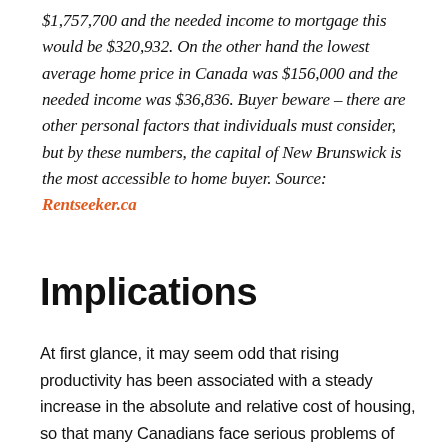$1,757,700 and the needed income to mortgage this would be $320,932. On the other hand the lowest average home price in Canada was $156,000 and the needed income was $36,836. Buyer beware – there are other personal factors that individuals must consider, but by these numbers, the capital of New Brunswick is the most accessible to home buyer. Source: Rentseeker.ca
Implications
At first glance, it may seem odd that rising productivity has been associated with a steady increase in the absolute and relative cost of housing, so that many Canadians face serious problems of affordability and